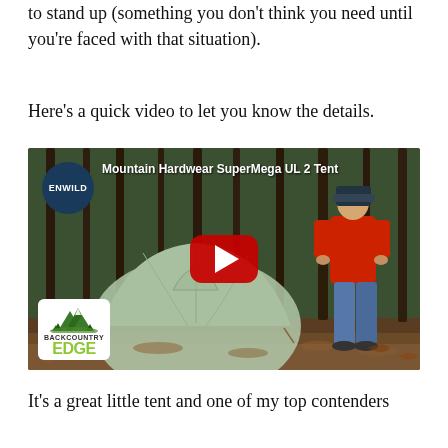to stand up (something you don't think you need until you're faced with that situation).
Here's a quick video to let you know the details.
[Figure (screenshot): YouTube video thumbnail showing a Mountain Hardwear SuperMega UL 2 Tent outdoors in a forest setting with a person in a red jacket standing next to it. Features ENWILD logo badge top-left, video title 'Mountain Hardwear SuperMega UL 2 Tent', YouTube play button in center, and Backcountry Edge logo bottom-left.]
It's a great little tent and one of my top contenders